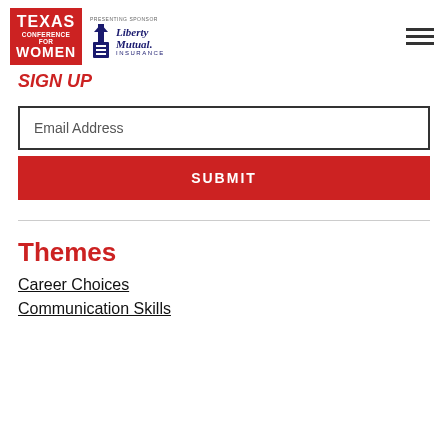Texas Conference for Women | Liberty Mutual Insurance
SIGN UP
Email Address
SUBMIT
Themes
Career Choices
Communication Skills